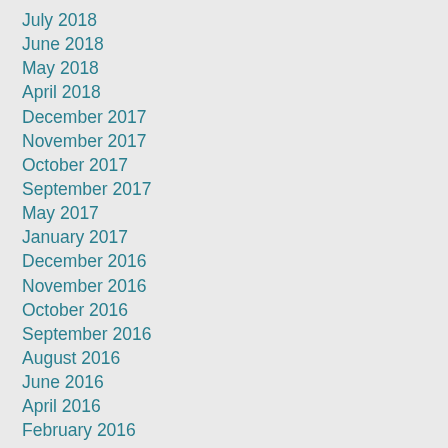July 2018
June 2018
May 2018
April 2018
December 2017
November 2017
October 2017
September 2017
May 2017
January 2017
December 2016
November 2016
October 2016
September 2016
August 2016
June 2016
April 2016
February 2016
January 2016
December 2015
November 2015
October 2015